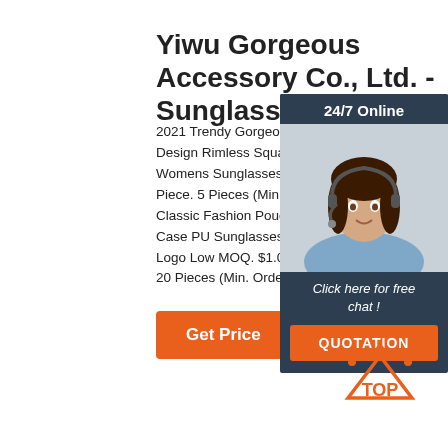Yiwu Gorgeous Accessory Co., Ltd. - Sunglasses, Handb
2021 Trendy Gorgeous Elegant Design Rimless Square Diamond Womens Sunglasses. $3.30 - Piece. 5 Pieces (Min. Order) Classic Fashion Pouch Cloth Case PU Sunglasses Case Custom Logo Low MOQ. $1.00 - $1.50 20 Pieces (Min. Order)
[Figure (screenshot): Chat widget panel with '24/7 Online' header, agent photo, 'Click here for free chat!' text, and orange QUOTATION button]
[Figure (logo): Orange TOP arrow logo with dots]
Get Price